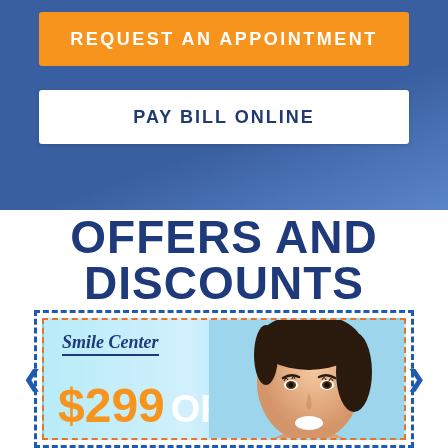REQUEST AN APPOINTMENT
PAY BILL ONLINE
OFFERS AND DISCOUNTS
[Figure (infographic): Smile Center coupon showing $299 OFF with woman smiling, dashed border coupon style]